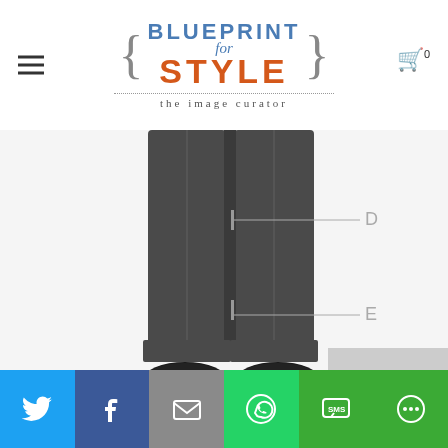[Figure (logo): Blueprint for Style logo with curly brackets, blue BLUEPRINT text, italic 'for', orange STYLE text, dotted divider, and 'the image curator' tagline]
[Figure (photo): Lower half of a man wearing dark grey dress trousers and black dress shoes, with callout labels D pointing to the trouser break area at knee level and E pointing to the trouser hem/cuff area]
[Figure (infographic): Social sharing bar with Twitter (blue), Facebook (dark blue), Email (grey), WhatsApp (green), SMS (green), and More (green) buttons]